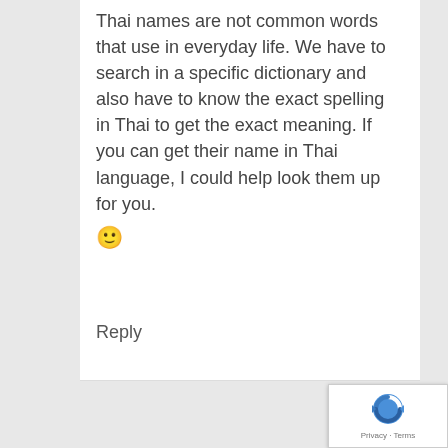Thai names are not common words that use in everyday life. We have to search in a specific dictionary and also have to know the exact spelling in Thai to get the exact meaning. If you can get their name in Thai language, I could help look them up for you. 🙂
Reply
[Figure (logo): Google reCAPTCHA badge with logo and Privacy - Terms text]